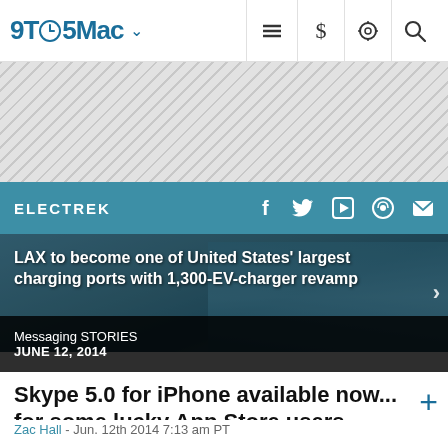9TO5Mac
[Figure (other): Hatched/striped advertisement placeholder banner area]
ELECTREK
[Figure (photo): Hero image of a large parking structure/building with teal overlay. Overlaid text: 'LAX to become one of United States' largest charging ports with 1,300-EV-charger revamp' with a right arrow chevron.]
Messaging STORIES
JUNE 12, 2014
Skype 5.0 for iPhone available now... for some lucky App Store users
Zac Hall - Jun. 12th 2014 7:13 am PT
Messaging STORIES